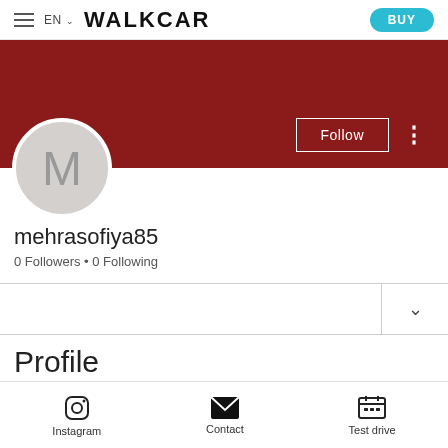EN WALKCAR BUY
[Figure (screenshot): User profile banner in dark red with Follow button and vertical dots menu]
[Figure (illustration): Circular avatar with letter M on grey background]
mehrasofiya85
0 Followers • 0 Following
Profile
Instagram   Contact   Test drive